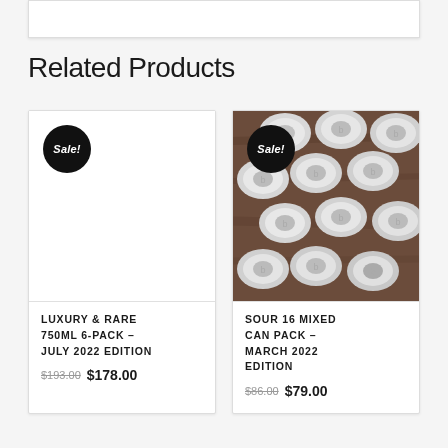Related Products
[Figure (other): Product card for Luxury & Rare 750ML 6-Pack - July 2022 Edition with Sale badge, blank white product image area]
LUXURY & RARE 750ML 6-PACK – JULY 2022 EDITION
$193.00 $178.00
[Figure (photo): Product card for Sour 16 Mixed Can Pack - March 2022 Edition with Sale badge, overhead photo of many silver beverage cans on wooden background]
SOUR 16 MIXED CAN PACK – MARCH 2022 EDITION
$86.00 $79.00